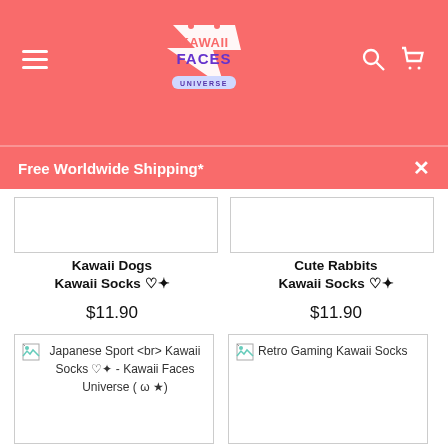Kawaii Faces Universe — Free Worldwide Shipping*
Kawaii Dogs Kawaii Socks ♡✦ $11.90
Cute Rabbits Kawaii Socks ♡✦ $11.90
[Figure (other): Broken image placeholder for Japanese Sport Kawaii Socks ♡✦ - Kawaii Faces Universe ( ω ★)]
[Figure (other): Broken image placeholder for Retro Gaming Kawaii Socks]